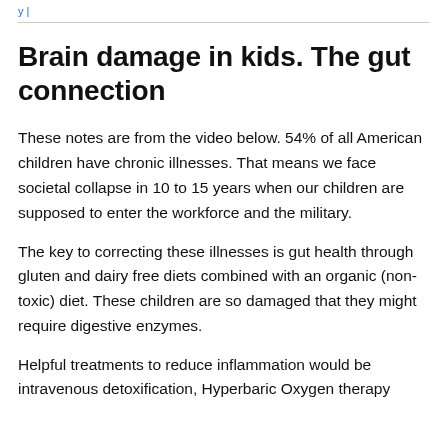y | ...
Brain damage in kids. The gut connection
These notes are from the video below. 54% of all American children have chronic illnesses. That means we face societal collapse in 10 to 15 years when our children are supposed to enter the workforce and the military.
The key to correcting these illnesses is gut health through gluten and dairy free diets combined with an organic (non-toxic) diet. These children are so damaged that they might require digestive enzymes.
Helpful treatments to reduce inflammation would be intravenous detoxification, Hyperbaric Oxygen therapy